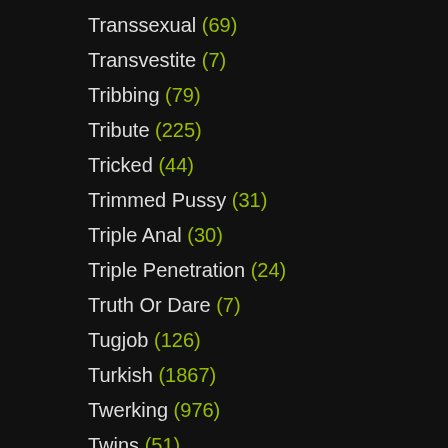Transsexual (69)
Transvestite (7)
Tribbing (79)
Tribute (225)
Tricked (44)
Trimmed Pussy (31)
Triple Anal (30)
Triple Penetration (24)
Truth Or Dare (7)
Tugjob (126)
Turkish (1867)
Twerking (976)
Twins (51)
Ugly (114)
Ukrainian (127)
Uncensored (453)